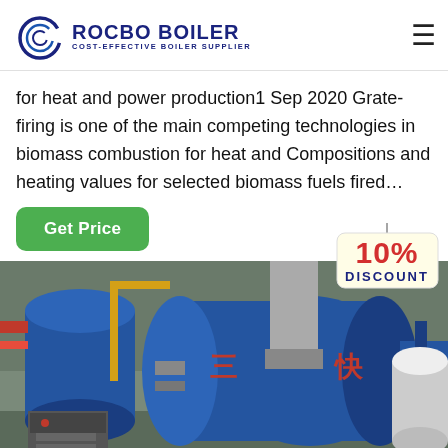ROCBO BOILER — COST-EFFECTIVE BOILER SUPPLIER
for heat and power production1 Sep 2020 Grate-firing is one of the main competing technologies in biomass combustion for heat and Compositions and heating values for selected biomass fuels fired…
Get Price
[Figure (photo): Industrial boiler equipment in a factory setting showing blue boiler vessels, silver cylindrical drum, pipes, and Chinese text markings on the equipment]